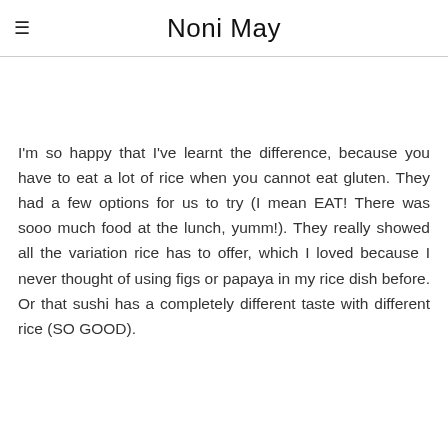Noni May
I'm so happy that I've learnt the difference, because you have to eat a lot of rice when you cannot eat gluten. They had a few options for us to try (I mean EAT! There was sooo much food at the lunch, yumm!). They really showed all the variation rice has to offer, which I loved because I never thought of using figs or papaya in my rice dish before. Or that sushi has a completely different taste with different rice (SO GOOD).